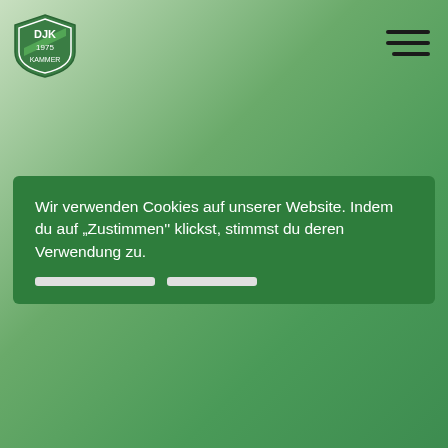[Figure (logo): DJK Kammer 1975 club logo — green shield shape with 'DJK' text, '1975' year, and 'KAMMER' text]
Wir verwenden Cookies auf unserer Website. Indem du auf „Zustimmen'' klickst, stimmst du deren Verwendung zu.